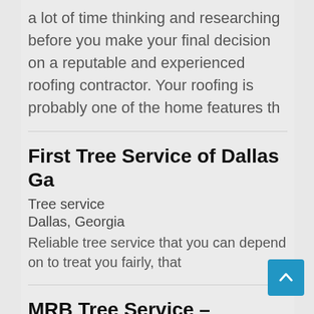a lot of time thinking and researching before you make your final decision on a reputable and experienced roofing contractor. Your roofing is probably one of the home features th
First Tree Service of Dallas Ga
Tree service
Dallas, Georgia
Reliable tree service that you can depend on to treat you fairly, that
MRB Tree Service – Beavercreek, OH